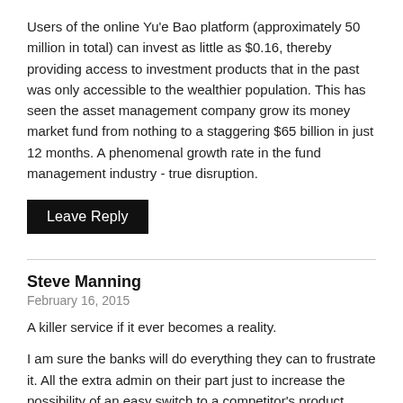Users of the online Yu'e Bao platform (approximately 50 million in total) can invest as little as $0.16, thereby providing access to investment products that in the past was only accessible to the wealthier population. This has seen the asset management company grow its money market fund from nothing to a staggering $65 billion in just 12 months. A phenomenal growth rate in the fund management industry - true disruption.
Leave Reply
Steve Manning
February 16, 2015
A killer service if it ever becomes a reality.
I am sure the banks will do everything they can to frustrate it. All the extra admin on their part just to increase the possibility of an easy switch to a competitor's product.
Still, if the client instructs them to make details available to the new service they have to comply.
Leave Reply